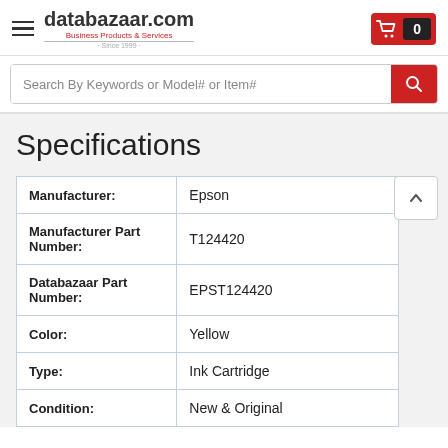databazaar.com — Business Products & Services · Since 1999
Search By Keywords or Model# or Item#
Specifications
|  |  |
| --- | --- |
| Manufacturer: | Epson |
| Manufacturer Part Number: | T124420 |
| Databazaar Part Number: | EPST124420 |
| Color: | Yellow |
| Type: | Ink Cartridge |
| Condition: | New & Original |